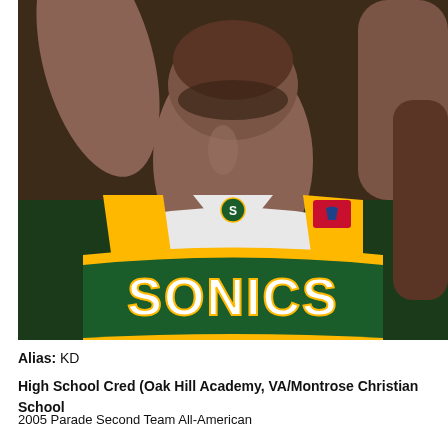[Figure (photo): Basketball player wearing a Seattle SuperSonics green and gold jersey with 'SONICS' text visible, arms raised, photographed from below. NBA logo visible on jersey.]
Alias: KD
High School Cred (Oak Hill Academy, VA/Montrose Christian School
2005 Parade Second Team All-American